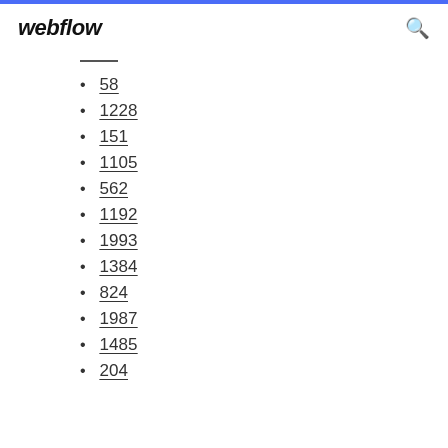webflow
58
1228
151
1105
562
1192
1993
1384
824
1987
1485
204